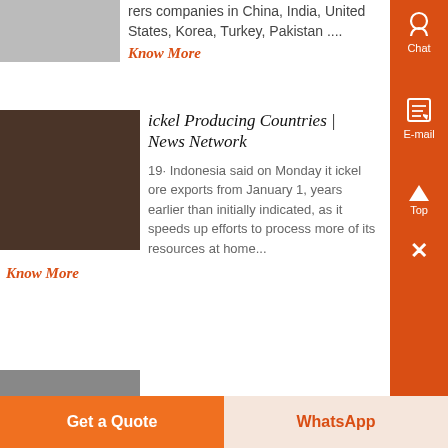[Figure (photo): Partial product/industrial image at top left, partially cropped]
rers companies in China, India, United States, Korea, Turkey, Pakistan ....
Know More
[Figure (photo): Industrial processing equipment, dark interior factory image]
ickel Producing Countries | News Network
19· Indonesia said on Monday it ickel ore exports from January 1, years earlier than initially indicated, as it speeds up efforts to process more of its resources at home...
Know More
[Figure (photo): Partial image at bottom, partially cropped]
Get a Quote
WhatsApp